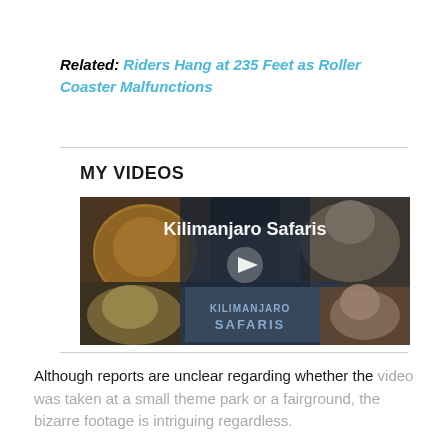Related: Riders Hang at 235 Feet as Roller Coaster Malfunctions
MY VIDEOS
[Figure (screenshot): Video thumbnail for Kilimanjaro Safaris showing a lion, elephant, cheetah, and antelope with a play button overlay and text reading 'Kilimanjaro Safaris' and 'KILIMANJARO SAFARIS']
Although reports are unclear regarding whether the video was taken at a small theme park or a fairground, the bizarre footage is intriguing regardless.